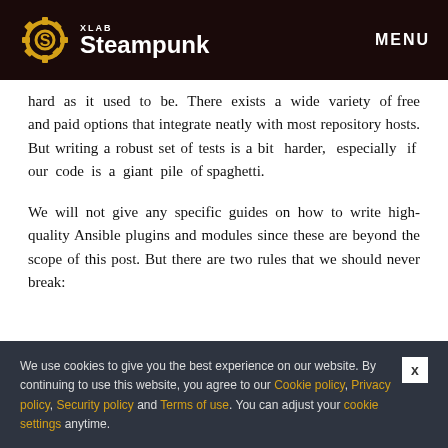XLAB Steampunk | MENU
hard as it used to be. There exists a wide variety of free and paid options that integrate neatly with most repository hosts. But writing a robust set of tests is a bit harder, especially if our code is a giant pile of spaghetti.
We will not give any specific guides on how to write high-quality Ansible plugins and modules since these are beyond the scope of this post. But there are two rules that we should never break:
We use cookies to give you the best experience on our website. By continuing to use this website, you agree to our Cookie policy, Privacy policy, Security policy and Terms of use. You can adjust your cookie settings anytime.